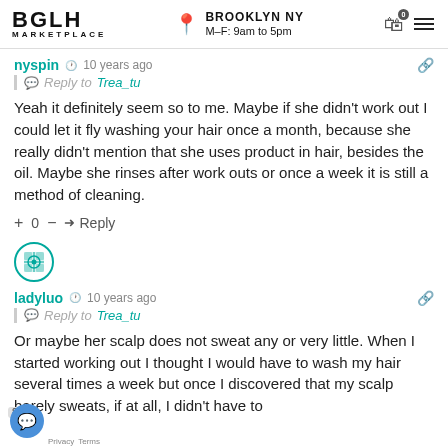BGLH MARKETPLACE | BROOKLYN NY M-F: 9am to 5pm
nyspin  10 years ago
Reply to Trea_tu
Yeah it definitely seem so to me. Maybe if she didn't work out I could let it fly washing your hair once a month, because she really didn't mention that she uses product in hair, besides the oil. Maybe she rinses after work outs or once a week it is still a method of cleaning.
+ 0 — Reply
[Figure (illustration): User avatar with decorative geometric pattern in teal/blue tones, circular shape]
ladyluo  10 years ago
Reply to Trea_tu
Or maybe her scalp does not sweat any or very little. When I started working out I thought I would have to wash my hair several times a week but once I discovered that my scalp barely sweats, if at all, I didn't have to